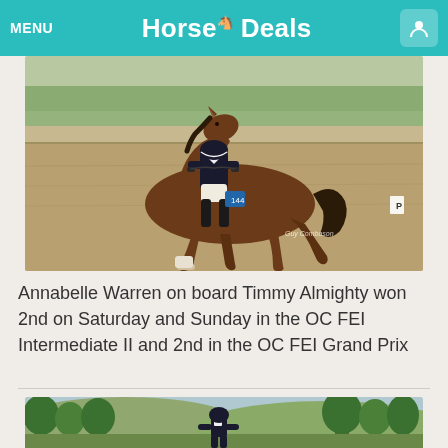MENU  Horse Deals
[Figure (photo): Rider on a bay horse performing dressage in an outdoor arena with white letters/markers visible. Horse is cantering, rider dressed in black and white.]
Annabelle Warren on board Timmy Almighty won 2nd on Saturday and Sunday in the OC FEI Intermediate II and 2nd in the OC FEI Grand Prix
[Figure (photo): Rider in black attire and helmet standing or riding in a lush green outdoor setting with trees and hills in the background.]